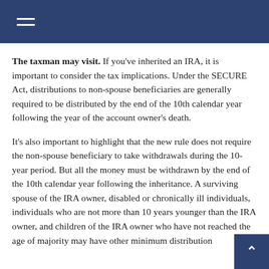Navigation menu header bar
The taxman may visit. If you've inherited an IRA, it is important to consider the tax implications. Under the SECURE Act, distributions to non-spouse beneficiaries are generally required to be distributed by the end of the 10th calendar year following the year of the account owner's death.
It's also important to highlight that the new rule does not require the non-spouse beneficiary to take withdrawals during the 10-year period. But all the money must be withdrawn by the end of the 10th calendar year following the inheritance. A surviving spouse of the IRA owner, disabled or chronically ill individuals, individuals who are not more than 10 years younger than the IRA owner, and children of the IRA owner who have not reached the age of majority may have other minimum distribution